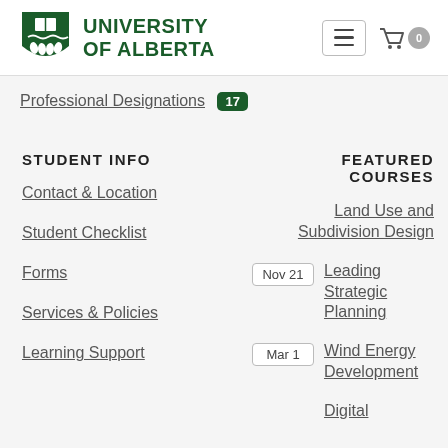[Figure (logo): University of Alberta shield logo with book and water/wheat imagery]
UNIVERSITY OF ALBERTA
Professional Designations 17
STUDENT INFO
Contact & Location
Student Checklist
Forms
Services & Policies
Learning Support
FEATURED COURSES
Land Use and Subdivision Design
Nov 21 — Leading Strategic Planning
Mar 1 — Wind Energy Development
Digital (partially visible)